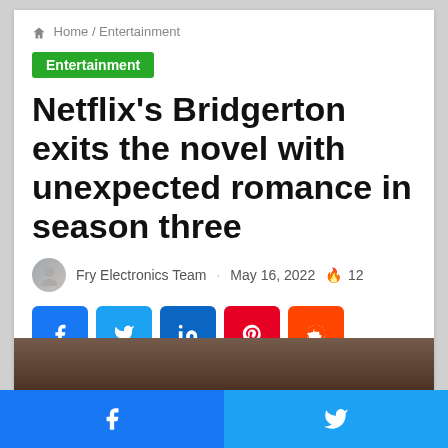Home / Entertainment
Entertainment
Netflix’s Bridgerton exits the novel with unexpected romance in season three
Fry Electronics Team · May 16, 2022 🔥 12
[Figure (infographic): Social share buttons: Facebook (blue), Twitter (light blue), LinkedIn (dark blue), Pinterest (red), Reddit (orange)]
[Figure (photo): A partially visible photograph of people, likely a scene from Bridgerton, at the bottom of the page]
[Figure (infographic): Bottom navigation bar with Facebook (blue, left half) and Twitter (light blue, right half) share buttons]